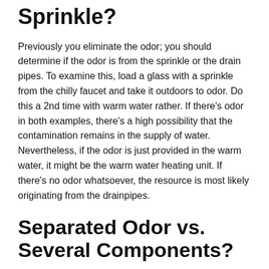Sprinkle?
Previously you eliminate the odor; you should determine if the odor is from the sprinkle or the drain pipes. To examine this, load a glass with a sprinkle from the chilly faucet and take it outdoors to odor. Do this a 2nd time with warm water rather. If there's odor in both examples, there's a high possibility that the contamination remains in the supply of water. Nevertheless, if the odor is just provided in the warm water, it might be the warm water heating unit. If there's no odor whatsoever, the resource is most likely originating from the drainpipes.
Separated Odor vs. Several Components?
After you examine to discover where the odor is originating from, you have to discover if it's restricted to